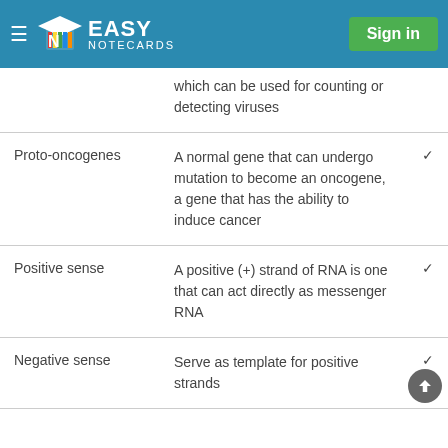Easy Notecards — Sign in
| Term | Definition |  |
| --- | --- | --- |
|  | which can be used for counting or detecting viruses |  |
| Proto-oncogenes | A normal gene that can undergo mutation to become an oncogene, a gene that has the ability to induce cancer | ✓ |
| Positive sense | A positive (+) strand of RNA is one that can act directly as messenger RNA | ✓ |
| Negative sense | Serve as template for positive strands | ✓ |